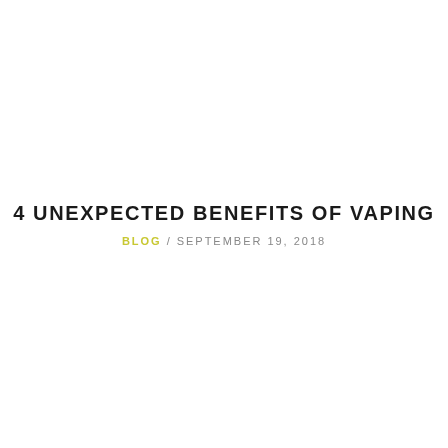4 UNEXPECTED BENEFITS OF VAPING
BLOG / SEPTEMBER 19, 2018